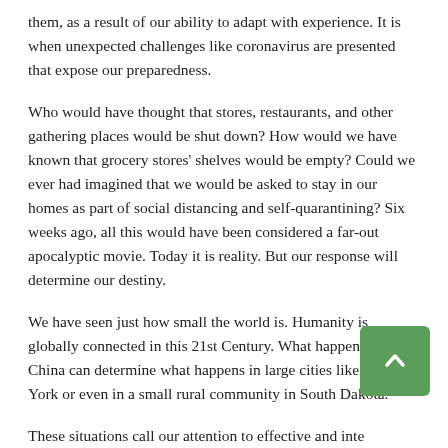them, as a result of our ability to adapt with experience. It is when unexpected challenges like coronavirus are presented that expose our preparedness.
Who would have thought that stores, restaurants, and other gathering places would be shut down? How would we have known that grocery stores' shelves would be empty? Could we ever had imagined that we would be asked to stay in our homes as part of social distancing and self-quarantining? Six weeks ago, all this would have been considered a far-out apocalyptic movie. Today it is reality. But our response will determine our destiny.
We have seen just how small the world is. Humanity is globally connected in this 21st Century. What happens in China can determine what happens in large cities like New York or even in a small rural community in South Dakota.
These situations call our attention to effective and inte... planning. Planning puts us in the best position for preparedness, not just when the unforeseen occurs, but also